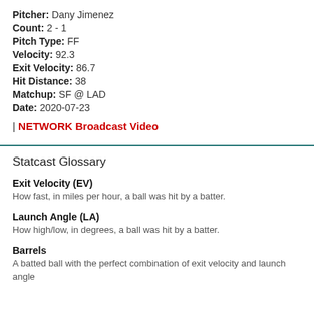Pitcher: Dany Jimenez
Count: 2 - 1
Pitch Type: FF
Velocity: 92.3
Exit Velocity: 86.7
Hit Distance: 38
Matchup: SF @ LAD
Date: 2020-07-23
| NETWORK Broadcast Video
Statcast Glossary
Exit Velocity (EV)
How fast, in miles per hour, a ball was hit by a batter.
Launch Angle (LA)
How high/low, in degrees, a ball was hit by a batter.
Barrels
A batted ball with the perfect combination of exit velocity and launch angle